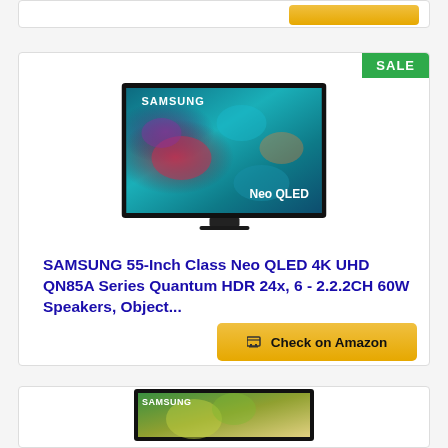[Figure (screenshot): Partial top of a product card with a yellow 'Check on Amazon' button visible at top]
[Figure (photo): Samsung Neo QLED TV product listing card with SALE badge, product image showing Samsung Neo QLED TV, product title, and Check on Amazon button]
SAMSUNG 55-Inch Class Neo QLED 4K UHD QN85A Series Quantum HDR 24x, 6 - 2.2.2CH 60W Speakers, Object...
[Figure (screenshot): Bottom partial product card showing top portion of another Samsung TV product listing]